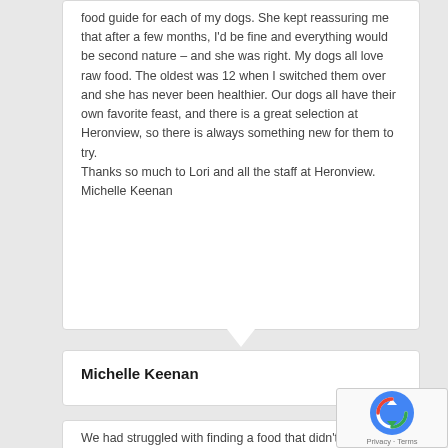food guide for each of my dogs. She kept reassuring me that after a few months, I'd be fine and everything would be second nature – and she was right. My dogs all love raw food. The oldest was 12 when I switched them over and she has never been healthier. Our dogs all have their own favorite feast, and there is a great selection at Heronview, so there is always something new for them to try.
Thanks so much to Lori and all the staff at Heronview.
Michelle Keenan
Michelle Keenan
We had struggled with finding a food that didn't make our dogs sick since bringing them home as 8 week old puppies. Everything we tried gave them diarrhea and